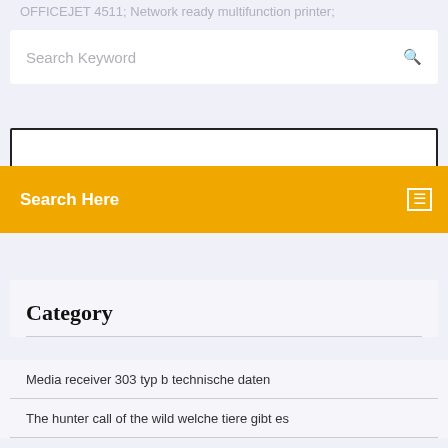OFFICEJET 4511; Network ready multifunction printer;
Search Keyword
Search Here
Category
Media receiver 303 typ b technische daten
The hunter call of the wild welche tiere gibt es